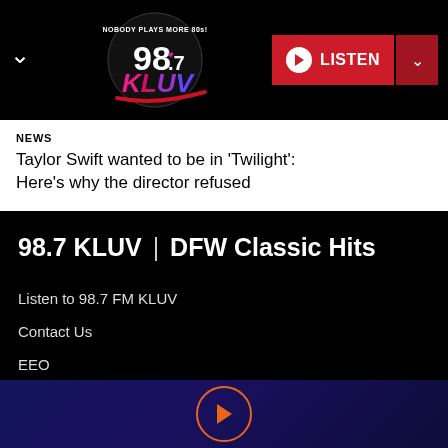[Figure (logo): 98.7 KLUV radio station logo with text 'NOBODY PLAYS MORE 80s!' on a black circular background, with colorful stylized lettering in pink, red, purple and blue]
NEWS
Taylor Swift wanted to be in 'Twilight': Here's why the director refused
98.7 KLUV | DFW Classic Hits
Listen to 98.7 FM KLUV
Contact Us
EEO
Public Inspection File
Play button player bar